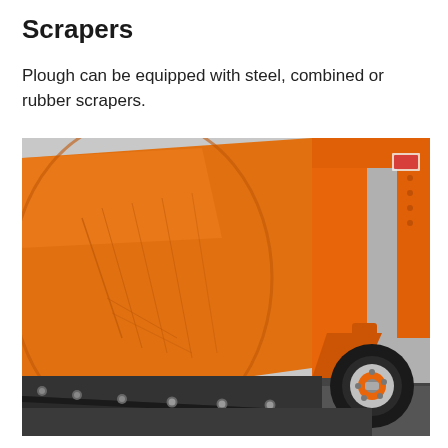Scrapers
Plough can be equipped with steel, combined or rubber scrapers.
[Figure (photo): Close-up photograph of an orange snow plough showing the bottom scraper blade in dark grey/black with silver bolt heads, mounted on a wheeled frame. The large orange curved blade dominates the frame, with a black rubber tire visible on the right side.]